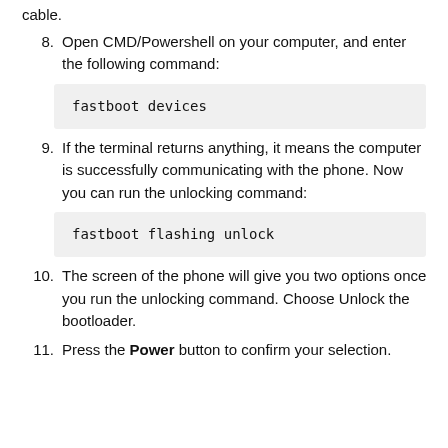cable.
8. Open CMD/Powershell on your computer, and enter the following command:
fastboot devices
9. If the terminal returns anything, it means the computer is successfully communicating with the phone. Now you can run the unlocking command:
fastboot flashing unlock
10. The screen of the phone will give you two options once you run the unlocking command. Choose Unlock the bootloader.
11. Press the Power button to confirm your selection.